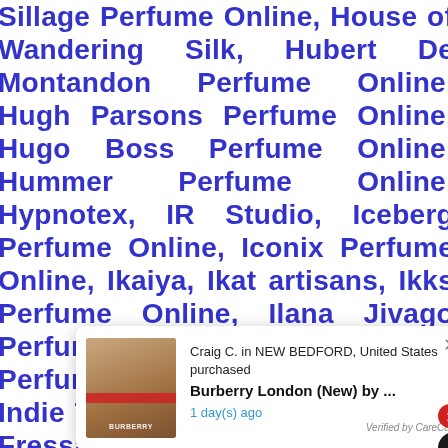Sillage Perfume Online, House of Wandering Silk, Hubert De Montandon Perfume Online, Hugh Parsons Perfume Online, Hugo Boss Perfume Online, Hummer Perfume Online, Hypnotex, IR Studio, Iceberg Perfume Online, Iconix Perfume Online, Ikaiya, Ikat artisans, Ikks Perfume Online, Ilana Jivago Perfume Online, Illluminum Perfume Online, Indian Artizans, Indie Trunk, Indofash, Ines De La Fressange Perfume Online, Irma Shorell Perfume Online, Isaac Mizr... ellini Perfu... ne, Ivank... ume Online, J. Crew Perfume Online, J. Dessange
[Figure (screenshot): A popup notification showing a product purchase: Craig C. in NEW BEDFORD, United States purchased Burberry London (New) by ... 1 day(s) ago. Verified by CareCart. Shows a product image of a brown Burberry perfume bottle with a red stripe. A red badge with '1' and a dark circular icon are also visible.]